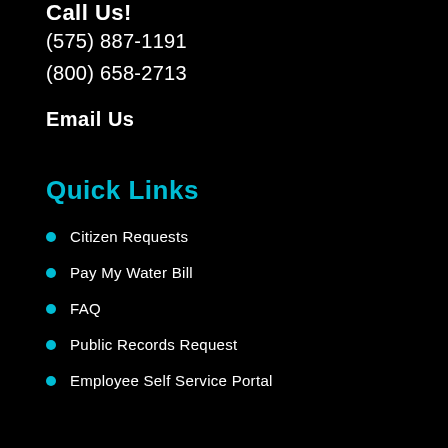Call Us!
(575) 887-1191
(800) 658-2713
Email Us
Quick Links
Citizen Requests
Pay My Water Bill
FAQ
Public Records Request
Employee Self Service Portal